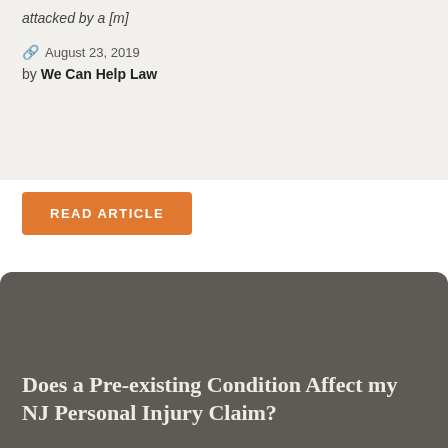attacked by a [m]
August 23, 2019
by We Can Help Law
READ ARTICLE
Does a Pre-existing Condition Affect my NJ Personal Injury Claim?